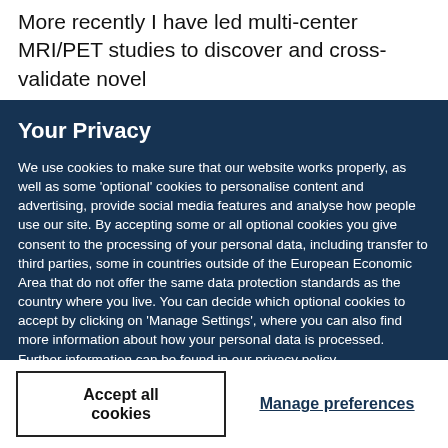More recently I have led multi-center MRI/PET studies to discover and cross-validate novel
Your Privacy
We use cookies to make sure that our website works properly, as well as some ‘optional’ cookies to personalise content and advertising, provide social media features and analyse how people use our site. By accepting some or all optional cookies you give consent to the processing of your personal data, including transfer to third parties, some in countries outside of the European Economic Area that do not offer the same data protection standards as the country where you live. You can decide which optional cookies to accept by clicking on ‘Manage Settings’, where you can also find more information about how your personal data is processed. Further information can be found in our privacy policy.
Accept all cookies
Manage preferences